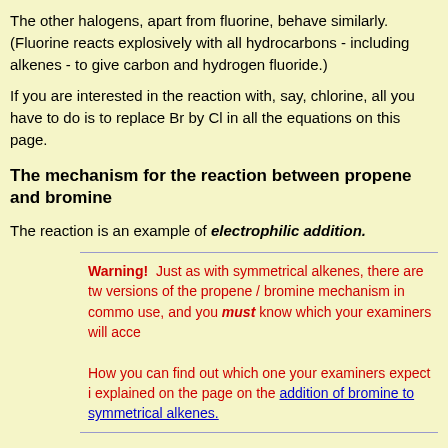The other halogens, apart from fluorine, behave similarly. (Fluorine reacts explosively with all hydrocarbons - including alkenes - to give carbon and hydrogen fluoride.)
If you are interested in the reaction with, say, chlorine, all you have to do is to replace Br by Cl in all the equations on this page.
The mechanism for the reaction between propene and bromine
The reaction is an example of electrophilic addition.
Warning! Just as with symmetrical alkenes, there are two versions of the propene / bromine mechanism in common use, and you must know which your examiners will accept. How you can find out which one your examiners expect is explained on the page on the addition of bromine to symmetrical alkenes.
Bromine as an electrophile
The bromine is a very "polarisable" molecule and the